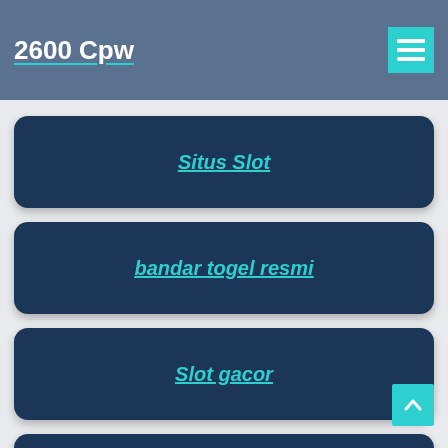2600 Cpw
Situs Slot
bandar togel resmi
Slot gacor